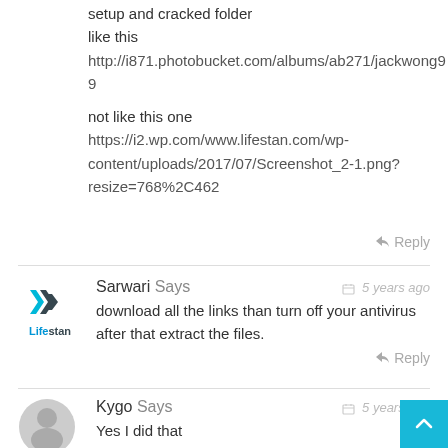setup and cracked folder
like this
http://i871.photobucket.com/albums/ab271/jackwong99

not like this one
https://i2.wp.com/www.lifestan.com/wp-content/uploads/2017/07/Screenshot_2-1.png?resize=768%2C462
↩ Reply
Sarwari Says    🗓 5 years ago
download all the links than turn off your antivirus after that extract the files.
↩ Reply
Kygo Says    🗓 5 years ago
Yes I did that
did you see the link I show to you, it's different